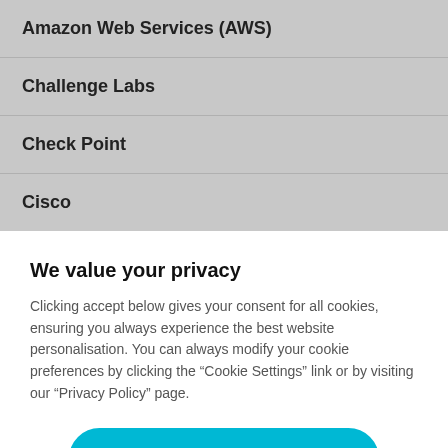| Amazon Web Services (AWS) |
| Challenge Labs |
| Check Point |
| Cisco |
We value your privacy
Clicking accept below gives your consent for all cookies, ensuring you always experience the best website personalisation. You can always modify your cookie preferences by clicking the “Cookie Settings” link or by visiting our “Privacy Policy” page.
Accept All Cookies
Cookies Settings